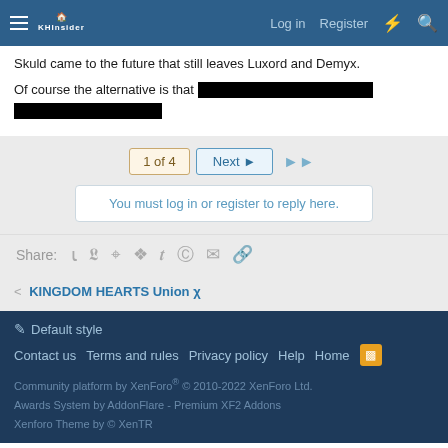Log in  Register
Skuld came to the future that still leaves Luxord and Demyx.
Of course the alternative is that [REDACTED] [REDACTED]
1 of 4  Next  ▶▶
You must log in or register to reply here.
Share:
< KINGDOM HEARTS Union χ
Default style
Contact us  Terms and rules  Privacy policy  Help  Home
Community platform by XenForo® © 2010-2022 XenForo Ltd.
Awards System by AddonFlare - Premium XF2 Addons
Xenforo Theme by © XenTR